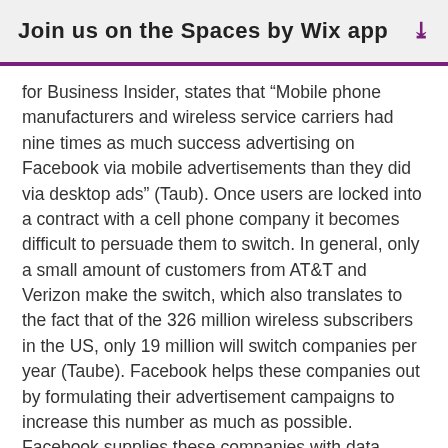Join us on the Spaces by Wix app
for Business Insider, states that “Mobile phone manufacturers and wireless service carriers had nine times as much success advertising on Facebook via mobile advertisements than they did via desktop ads” (Taub). Once users are locked into a contract with a cell phone company it becomes difficult to persuade them to switch. In general, only a small amount of customers from AT&T and Verizon make the switch, which also translates to the fact that of the 326 million wireless subscribers in the US, only 19 million will switch companies per year (Taube). Facebook helps these companies out by formulating their advertisement campaigns to increase this number as much as possible. Facebook supplies these companies with data about the numbers of users who have seen their